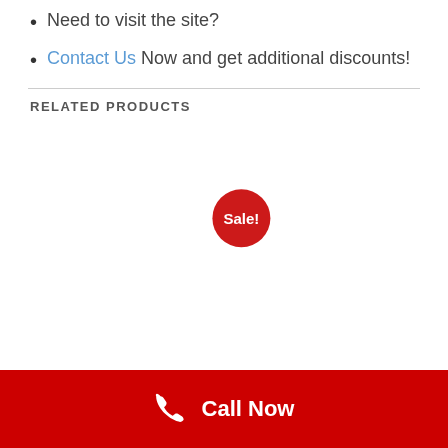Need to visit the site?
Contact Us Now and get additional discounts!
RELATED PRODUCTS
[Figure (infographic): A red circular Sale! badge in the related products section]
Call Now